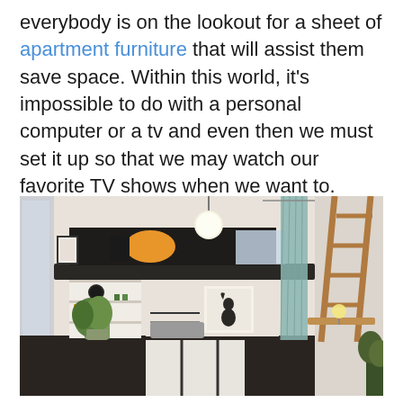everybody is on the lookout for a sheet of apartment furniture that will assist them save space. Within this world, it's impossible to do with a personal computer or a tv and even then we must set it up so that we may watch our favorite TV shows when we want to.
[Figure (photo): Interior photo of a compact loft-style room featuring a raised bed with yellow pillow, bookshelves below, a hanging globe pendant light, teal curtain divider, wooden ladder, small desk lamp, potted plant, and striped rug on dark floor.]